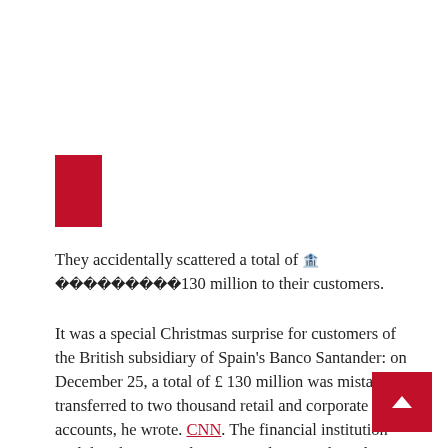[Figure (other): Red rectangle decorative block, top-left area]
They accidentally scattered a total of 🏦130 million to their customers.
It was a special Christmas surprise for customers of the British subsidiary of Spain's Banco Santander: on December 25, a total of £ 130 million was mistakenly transferred to two thousand retail and corporate accounts, he wrote. CNN. The financial institution said that this unusual error was due to technical error.